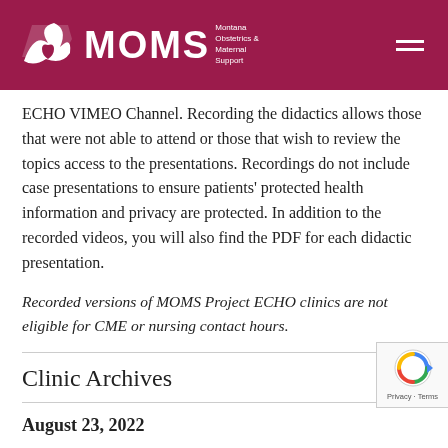MOMS – Montana Obstetrics & Maternal Support
ECHO VIMEO Channel. Recording the didactics allows those that were not able to attend or those that wish to review the topics access to the presentations. Recordings do not include case presentations to ensure patients' protected health information and privacy are protected. In addition to the recorded videos, you will also find the PDF for each didactic presentation.
Recorded versions of MOMS Project ECHO clinics are not eligible for CME or nursing contact hours.
Clinic Archives
August 23, 2022